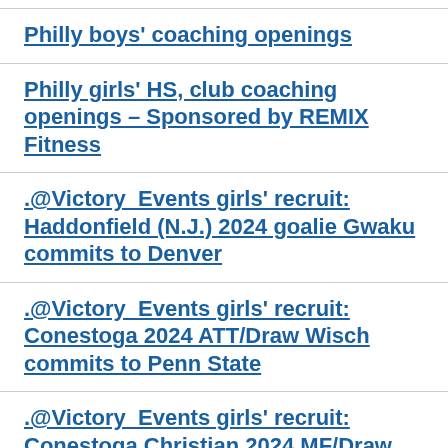Philly boys' coaching openings
Philly girls' HS, club coaching openings – Sponsored by REMIX Fitness
.@Victory_Events girls' recruit: Haddonfield (N.J.) 2024 goalie Gwaku commits to Denver
.@Victory_Events girls' recruit: Conestoga 2024 ATT/Draw Wisch commits to Penn State
.@Victory_Events girls' recruit: Conestoga Christian 2024 MF/Draw Watson commits to Liberty
.@BerwynClub boys' recruit: Archmere Academy (DE) 2023 ATT/MF